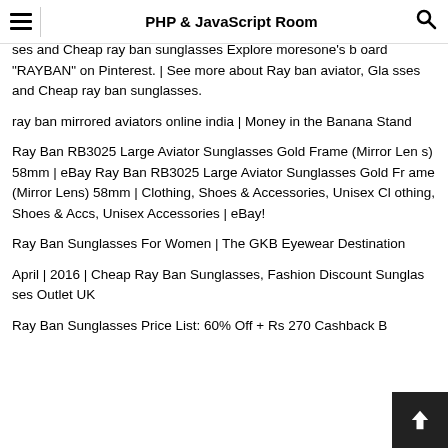PHP & JavaScript Room
ses and Cheap ray ban sunglasses Explore moresone's board "RAYBAN" on Pinterest. | See more about Ray ban aviator, Glasses and Cheap ray ban sunglasses.
ray ban mirrored aviators online india | Money in the Banana Stand
Ray Ban RB3025 Large Aviator Sunglasses Gold Frame (Mirror Lens) 58mm | eBay Ray Ban RB3025 Large Aviator Sunglasses Gold Frame (Mirror Lens) 58mm | Clothing, Shoes & Accessories, Unisex Clothing, Shoes & Accs, Unisex Accessories | eBay!
Ray Ban Sunglasses For Women | The GKB Eyewear Destination
April | 2016 | Cheap Ray Ban Sunglasses, Fashion Discount Sunglasses Outlet UK
Ray Ban Sunglasses Price List: 60% Off + Rs 270 Cashback B